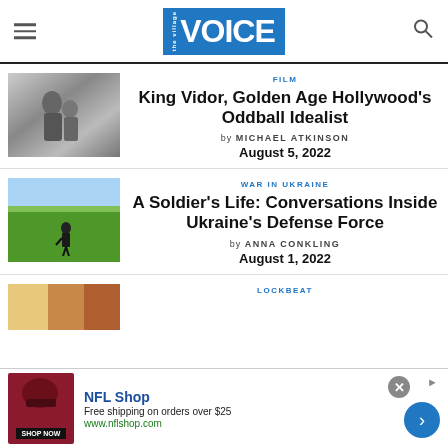the Village VOICE
[Figure (photo): Black and white photo of two people, appears to be a scene from an old Hollywood film]
FILM
King Vidor, Golden Age Hollywood's Oddball Idealist
by MICHAEL ATKINSON
August 5, 2022
[Figure (photo): Soldier standing in a green field under a blue sky, viewed from behind]
WAR IN UKRAINE
A Soldier's Life: Conversations Inside Ukraine's Defense Force
by ANNA CONKLING
August 1, 2022
[Figure (photo): Partial third article thumbnail, colorful image]
LOCKBEAT
[Figure (advertisement): NFL Shop advertisement: Free shipping on orders over $25, www.nflshop.com, SHOP NOW button]